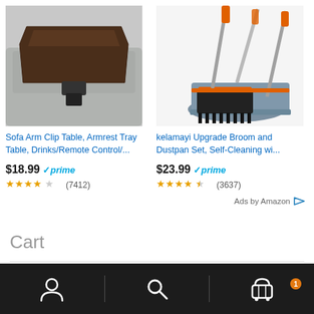[Figure (photo): Sofa arm clip tray table, dark brown, resting on couch armrest]
[Figure (photo): kelamayi broom and dustpan set, grey and orange, with long handles]
Sofa Arm Clip Table, Armrest Tray Table, Drinks/Remote Control/...
kelamayi Upgrade Broom and Dustpan Set, Self-Cleaning wi...
$18.99 ✓prime
★★★★☆ (7412)
$23.99 ✓prime
★★★★½ (3637)
Ads by Amazon ▷
Cart
[Figure (infographic): Bottom navigation bar with account/person icon, search icon, and cart icon with badge showing 1]